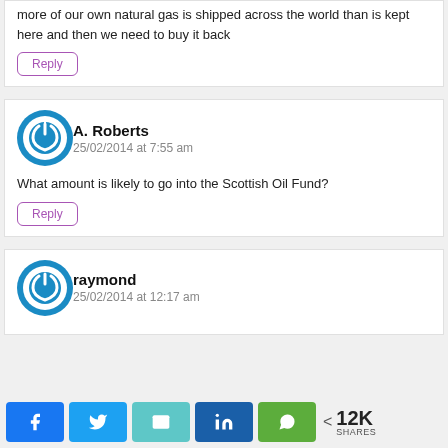more of our own natural gas is shipped across the world than is kept here and then we need to buy it back
Reply
A. Roberts
25/02/2014 at 7:55 am
What amount is likely to go into the Scottish Oil Fund?
Reply
raymond
25/02/2014 at 12:17 am
12K SHARES